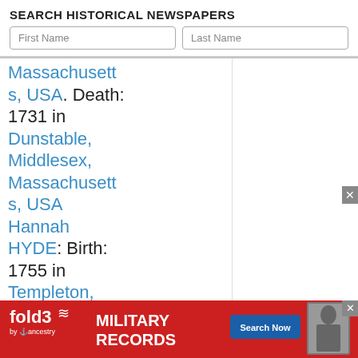SEARCH HISTORICAL NEWSPAPERS
Massachusetts, USA. Death: 1731 in Dunstable, Middlesex, Massachusetts, USA Hannah HYDE: Birth: 1755 in Templeton, Worcester, Massachusetts, USA. D... 9 AUG 1... Pit...
[Figure (screenshot): Advertisement for fold3 Military Records by Ancestry with Search Now button and soldier photo]